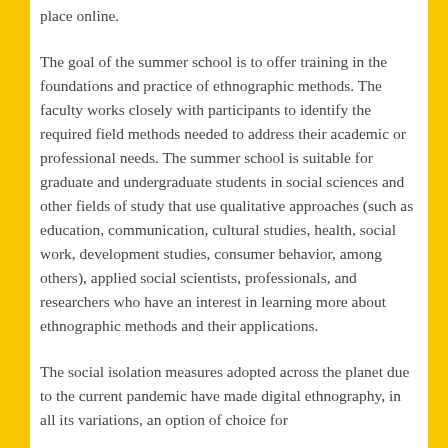place online.
The goal of the summer school is to offer training in the foundations and practice of ethnographic methods. The faculty works closely with participants to identify the required field methods needed to address their academic or professional needs. The summer school is suitable for graduate and undergraduate students in social sciences and other fields of study that use qualitative approaches (such as education, communication, cultural studies, health, social work, development studies, consumer behavior, among others), applied social scientists, professionals, and researchers who have an interest in learning more about ethnographic methods and their applications.
The social isolation measures adopted across the planet due to the current pandemic have made digital ethnography, in all its variations, an option of choice for